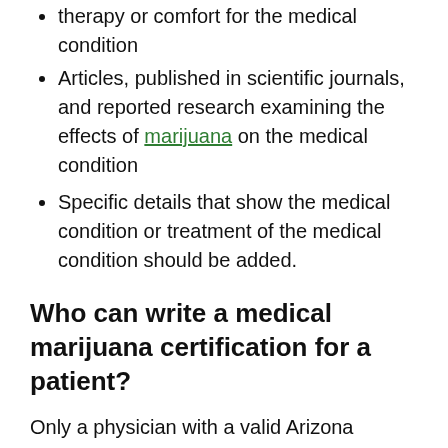therapy or comfort for the medical condition
Articles, published in scientific journals, and reported research examining the effects of marijuana on the medical condition
Specific details that show the medical condition or treatment of the medical condition should be added.
Who can write a medical marijuana certification for a patient?
Only a physician with a valid Arizona license to practice medicine that maintains a doctor-patient relationship may write certifications for that patient. These include a medical (MD) doctor, Osteopath, Homeopath, or Naturopath.